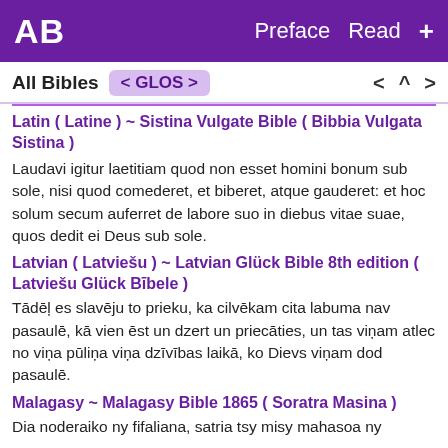AB  Preface  Read  +
All Bibles  < GLOS >  < ^ >
Latin ( Latine ) ~ Sistina Vulgate Bible ( Bibbia Vulgata Sistina )
Laudavi igitur laetitiam quod non esset homini bonum sub sole, nisi quod comederet, et biberet, atque gauderet: et hoc solum secum auferret de labore suo in diebus vitae suae, quos dedit ei Deus sub sole.
Latvian ( Latviešu ) ~ Latvian Glück Bible 8th edition ( Latviešu Glück Bībele )
Tādēļ es slavēju to prieku, ka cilvēkam cita labuma nav pasaulē, kā vien ēst un dzert un priecāties, un tas viņam atlec no viņa pūliņa viņa dzīvības laikā, ko Dievs viņam dod pasaulē.
Malagasy ~ Malagasy Bible 1865 ( Soratra Masina )
Dia noderaiko ny fifaliana, satria tsy misy mahasoa ny